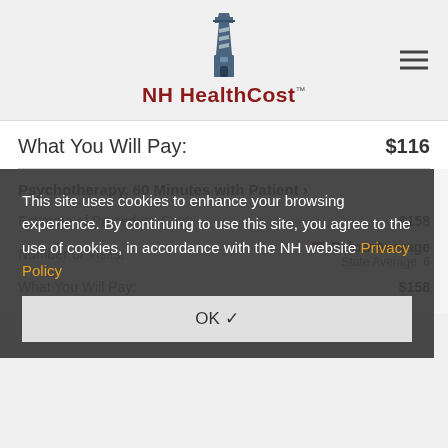[Figure (logo): NH HealthCost lighthouse logo with text 'NH HealthCost TM']
What You Will Pay: $116
Psychotherapy, 60 Minutes with Patient »
Estimate of Procedure Cost: $158
Number of Visits: ▼ Below Average  State Average: 6
What You Will Pay: $158
This site uses cookies to enhance your browsing experience. By continuing to use this site, you agree to the use of cookies, in accordance with the NH website Privacy Policy
OK ✓